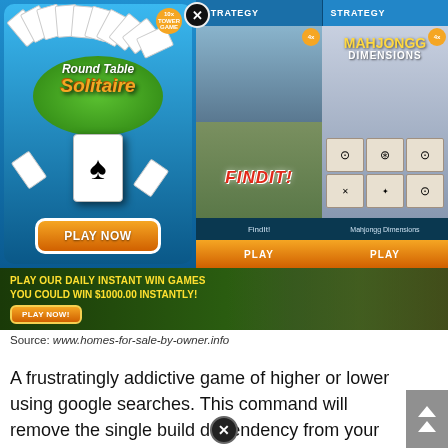[Figure (screenshot): Screenshot showing online game advertisements including Round Table Solitaire, FindIt!, and Mahjongg Dimensions with STRATEGY labels and PLAY NOW buttons, plus a banner reading PLAY OUR DAILY INSTANT WIN GAMES YOU COULD WIN $1000.00 INSTANTLY! with a PLAY NOW! button]
Source: www.homes-for-sale-by-owner.info
A frustratingly addictive game of higher or lower using google searches. This command will remove the single build dependency from your project.